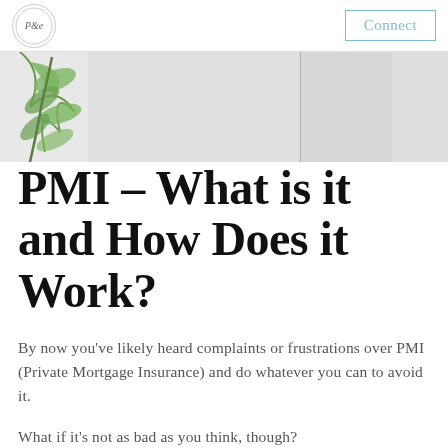Connect
[Figure (photo): Hero image showing a light-colored interior scene with a plant with green leaves on the left side and white/grey cabinet or wall panels in the background]
PMI – What is it and How Does it Work?
By now you've likely heard complaints or frustrations over PMI (Private Mortgage Insurance) and do whatever you can to avoid it.
What if it's not as bad as you think, though?
Private Mortgage Insurance actually matters...